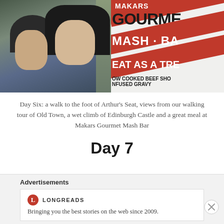[Figure (photo): Two photos side by side: left shows a couple taking a selfie in a rainy alley wearing dark jackets and hoods; right shows a close-up of a Makars Gourmet Mash Bar sign with red and white text on an angle]
Day Six: a walk to the foot of Arthur's Seat, views from our walking tour of Old Town, a wet climb of Edinburgh Castle and a great meal at Makars Gourmet Mash Bar
Day 7
Advertisements
Bringing you the best stories on the web since 2009.